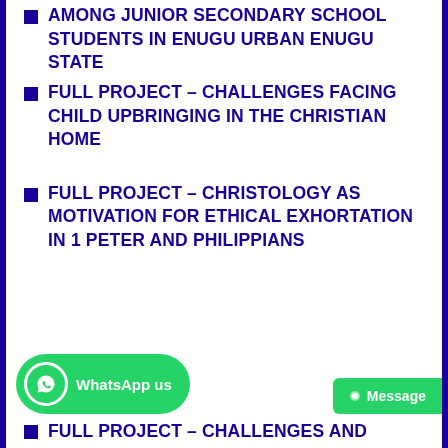AMONG JUNIOR SECONDARY SCHOOL STUDENTS IN ENUGU URBAN ENUGU STATE
FULL PROJECT – CHALLENGES FACING CHILD UPBRINGING IN THE CHRISTIAN HOME
FULL PROJECT – CHRISTOLOGY AS MOTIVATION FOR ETHICAL EXHORTATION IN 1 PETER AND PHILIPPIANS
FULL PROJECT – CHALLENGES AND